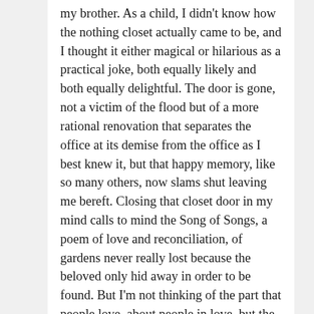my brother. As a child, I didn't know how the nothing closet actually came to be, and I thought it either magical or hilarious as a practical joke, both equally likely and both equally delightful. The door is gone, not a victim of the flood but of a more rational renovation that separates the office at its demise from the office as I best knew it, but that happy memory, like so many others, now slams shut leaving me bereft. Closing that closet door in my mind calls to mind the Song of Songs, a poem of love and reconciliation, of gardens never really lost because the beloved only hid away in order to be found. But I'm not thinking of the part that people love, about people in love, but the part people mock or more likely never get to. “If our sister” is… but this is not the bible and brothers neither open nor close doors as guardians of their sisters anymore. Closed doors aren't funny and their only magic is sinister, not